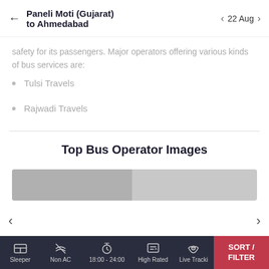← Paneli Moti (Gujarat) to Ahmedabad  < 22 Aug >
safety for its passengers. Major operators offering various kinds of bus services are:
Tulsi Travels
Rajwadi Travels
Top Bus Operator Images
[Figure (photo): Partial image strip showing bus operator photos, partially visible at the bottom of the image section]
Sleeper  Non AC  18:00 - 24:00  High Rated  Live Tracki  SORT / FILTER